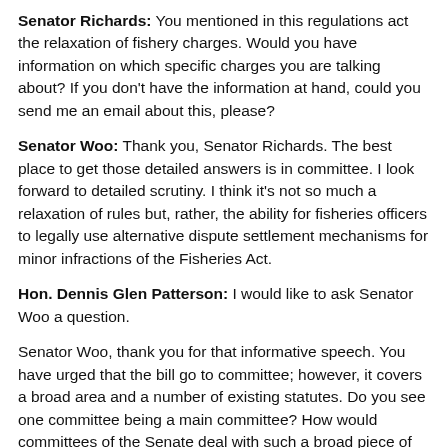Senator Richards: You mentioned in this regulations act the relaxation of fishery charges. Would you have information on which specific charges you are talking about? If you don't have the information at hand, could you send me an email about this, please?
Senator Woo: Thank you, Senator Richards. The best place to get those detailed answers is in committee. I look forward to detailed scrutiny. I think it's not so much a relaxation of rules but, rather, the ability for fisheries officers to legally use alternative dispute settlement mechanisms for minor infractions of the Fisheries Act.
Hon. Dennis Glen Patterson: I would like to ask Senator Woo a question.
Senator Woo, thank you for that informative speech. You have urged that the bill go to committee; however, it covers a broad area and a number of existing statutes. Do you see one committee being a main committee? How would committees of the Senate deal with such a broad piece of legislation? Thank you.
Senator Woo: Thank you, Senator Patterson. The question of the decision on which committee or committees the bill goes to are now beyond my pay grade. I know the leaders are discussing this issue. I believe they are contemplating sending the bill to multiple committees. I think we can roughly guess which committees are